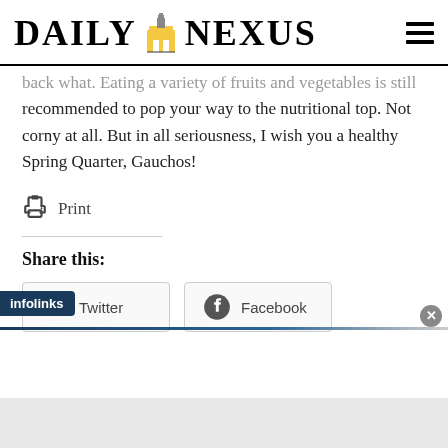DAILY NEXUS
back what. Eating a variety of fruits and vegetables is still recommended to pop your way to the nutritional top. Not corny at all. But in all seriousness, I wish you a healthy Spring Quarter, Gauchos!
Print
Share this:
Twitter
Facebook